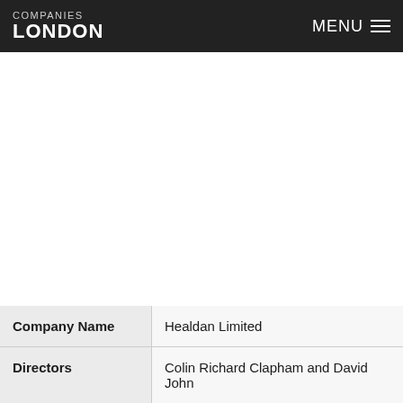COMPANIES LONDON  MENU
| Field | Value |
| --- | --- |
| Company Name | Healdan Limited |
| Directors | Colin Richard Clapham and David John |